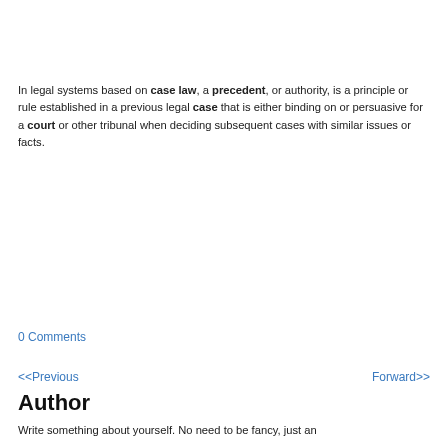In legal systems based on case law, a precedent, or authority, is a principle or rule established in a previous legal case that is either binding on or persuasive for a court or other tribunal when deciding subsequent cases with similar issues or facts.
0 Comments
<<Previous
Forward>>
Author
Write something about yourself. No need to be fancy, just an